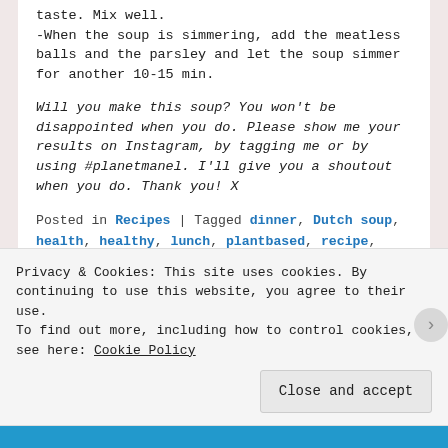taste. Mix well.
-When the soup is simmering, add the meatless balls and the parsley and let the soup simmer for another 10-15 min.
Will you make this soup? You won't be disappointed when you do. Please show me your results on Instagram, by tagging me or by using #planetmanel. I'll give you a shoutout when you do. Thank you! X
Posted in Recipes | Tagged dinner, Dutch soup, health, healthy, lunch, plantbased, recipe, soup, ve(gan)ry dutch, vegan, veganism, vegetable soup, vegetables | 2 Replies
Privacy & Cookies: This site uses cookies. By continuing to use this website, you agree to their use. To find out more, including how to control cookies, see here: Cookie Policy
Close and accept